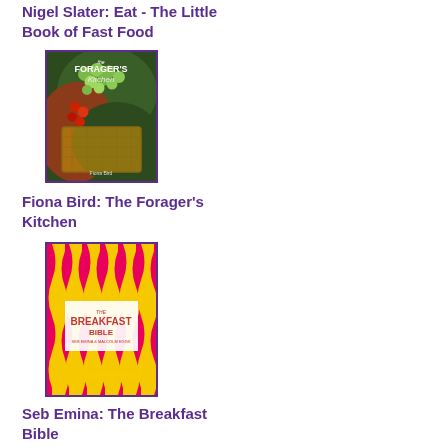Nigel Slater: Eat - The Little Book of Fast Food
[Figure (photo): Book cover of The Forager's Kitchen by Fiona Bird, showing green and red berries/fruits in a basket on a nature background]
Fiona Bird: The Forager's Kitchen
[Figure (photo): Book cover of The Breakfast Bible by Seb Emina, showing a bright pink and yellow striped/wavy pattern design]
Seb Emina: The Breakfast Bible